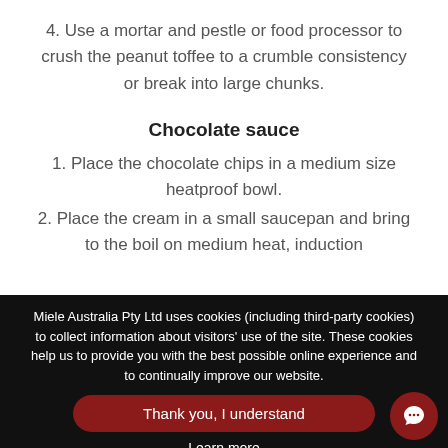4. Use a mortar and pestle or food processor to crush the peanut toffee to a crumble consistency or break into large chunks.
Chocolate sauce
1. Place the chocolate chips in a medium size heatproof bowl.
2. Place the cream in a small saucepan and bring to the boil on medium heat, induction
Miele Australia Pty Ltd uses cookies (including third-party cookies) to collect information about visitors' use of the site. These cookies help us to provide you with the best possible online experience and to continually improve our website.
Thank you, I understand
Learn more